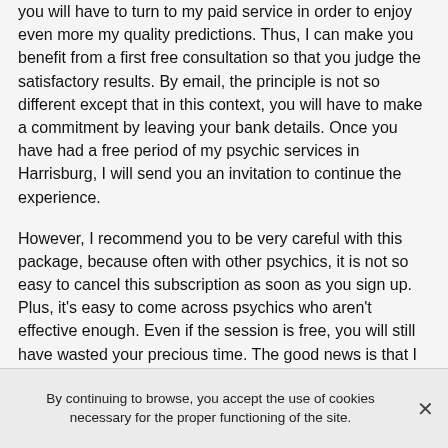you will have to turn to my paid service in order to enjoy even more my quality predictions. Thus, I can make you benefit from a first free consultation so that you judge the satisfactory results. By email, the principle is not so different except that in this context, you will have to make a commitment by leaving your bank details. Once you have had a free period of my psychic services in Harrisburg, I will send you an invitation to continue the experience.
However, I recommend you to be very careful with this package, because often with other psychics, it is not so easy to cancel this subscription as soon as you sign up. Plus, it's easy to come across psychics who aren't effective enough. Even if the session is free, you will still have wasted your precious time. The good news is that I can save you a lot of heartache if you trust me.
The disclaimer of psychic...
By continuing to browse, you accept the use of cookies necessary for the proper functioning of the site.